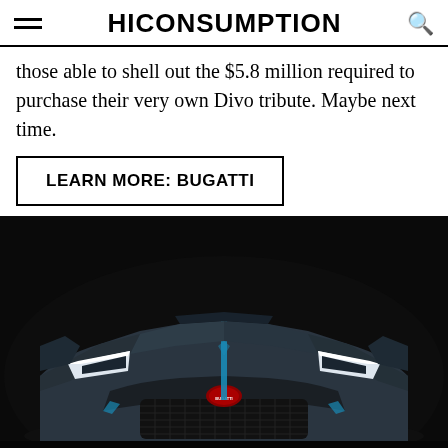HICONSUMPTION
those able to shell out the $5.8 million required to purchase their very own Divo tribute. Maybe next time.
LEARN MORE: BUGATTI
[Figure (photo): Front view of a Bugatti Divo hypercar in dark matte gray with blue accents and LED headlights, photographed against a dark background.]